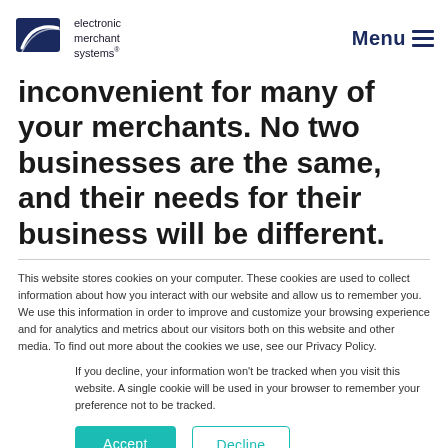[Figure (logo): Electronic Merchant Systems logo with dark blue triangle/card shape and swoosh, with text 'electronic merchant systems']
Menu ≡
inconvenient for many of your merchants. No two businesses are the same, and their needs for their business will be different.
This website stores cookies on your computer. These cookies are used to collect information about how you interact with our website and allow us to remember you. We use this information in order to improve and customize your browsing experience and for analytics and metrics about our visitors both on this website and other media. To find out more about the cookies we use, see our Privacy Policy.
If you decline, your information won't be tracked when you visit this website. A single cookie will be used in your browser to remember your preference not to be tracked.
Accept
Decline